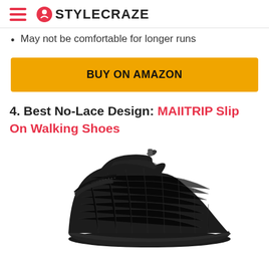STYLECRAZE
May not be comfortable for longer runs
BUY ON AMAZON
4. Best No-Lace Design: MAIITRIP Slip On Walking Shoes
[Figure (photo): Black slip-on walking shoe (MAIITRIP) with knit upper and black sole, shown from a side angle on white background]